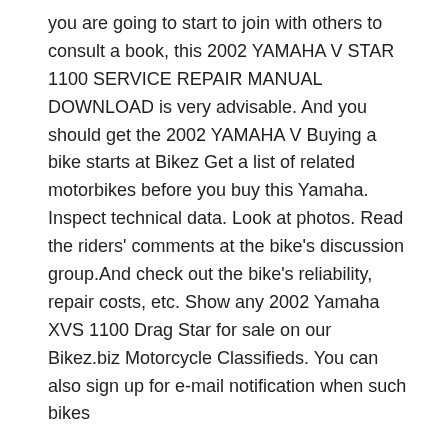you are going to start to join with others to consult a book, this 2002 YAMAHA V STAR 1100 SERVICE REPAIR MANUAL DOWNLOAD is very advisable. And you should get the 2002 YAMAHA V Buying a bike starts at Bikez Get a list of related motorbikes before you buy this Yamaha. Inspect technical data. Look at photos. Read the riders' comments at the bike's discussion group.And check out the bike's reliability, repair costs, etc. Show any 2002 Yamaha XVS 1100 Drag Star for sale on our Bikez.biz Motorcycle Classifieds. You can also sign up for e-mail notification when such bikes
Yamaha V-star-1100 2002 Factory Service Repair Manual Download. DOWNLOAD HERE. The Yamaha V-Star-1100 2002 Factory Service Repair Manual Pdf Download contains вЂ¦ 25/03/2016В В· Read Ebook Now http://booksgoodreads.com.readingpdf.com/?book=0892878908Download Yamaha VStar 1100 19992004